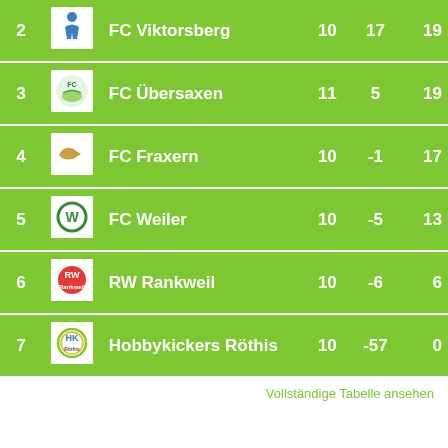| # | Logo | Team | Sp | Diff | Pts |
| --- | --- | --- | --- | --- | --- |
| 2 |  | FC Viktorsberg | 10 | 17 | 19 |
| 3 |  | FC Übersaxen | 11 | 5 | 19 |
| 4 |  | FC Fraxern | 10 | -1 | 17 |
| 5 |  | FC Weiler | 10 | -5 | 13 |
| 6 |  | RW Rankweil | 10 | -6 | 6 |
| 7 |  | Hobbykickers Röthis | 10 | -57 | 0 |
Vollständige Tabelle ansehen
Die Webseite verwendet Cookies um das Erlebnis für den User zu verbessern. Durch die Nutzung unserer Webseite erklären Sie sich damit einverstanden.
OK
mehr erfahren